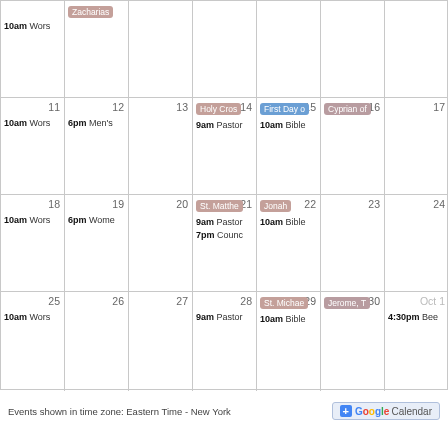[Figure (screenshot): Google Calendar partial month view showing September calendar events including worship services, Men's/Women's groups, Holy Cross, First Day, Cyprian, St. Matthew, Jonah, Council, St. Michael, Jerome, and other events across weeks.]
Events shown in time zone: Eastern Time - New York
[Figure (logo): Google Calendar logo button]